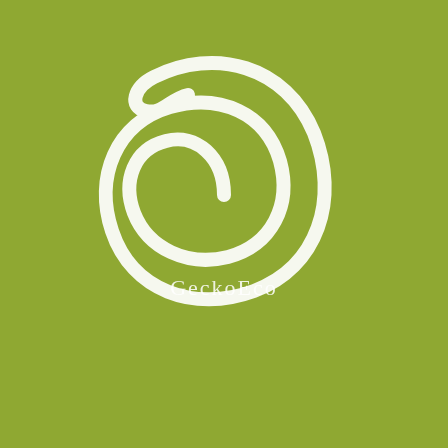[Figure (logo): GeckoEco logo: white spiral/swirl symbol above the text 'GeckoEco' on an olive green background]